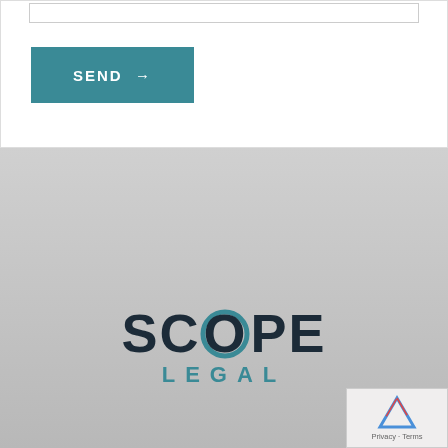[Figure (other): White form box with a text input bar at top and a teal SEND button with arrow]
[Figure (logo): Scope Legal logo — SCOPE in large dark serif letters with teal circular O, LEGAL in teal spaced letters below]
PO Box 289
Avoca Beach
NSW 2251
02 8007 4143